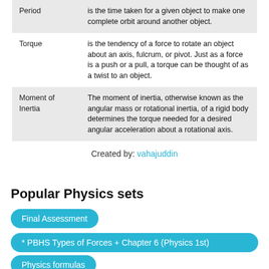| Term | Definition |
| --- | --- |
| Period | is the time taken for a given object to make one complete orbit around another object. |
| Torque | is the tendency of a force to rotate an object about an axis, fulcrum, or pivot. Just as a force is a push or a pull, a torque can be thought of as a twist to an object. |
| Moment of Inertia | The moment of inertia, otherwise known as the angular mass or rotational inertia, of a rigid body determines the torque needed for a desired angular acceleration about a rotational axis. |
Created by: vahajuddin
Popular Physics sets
Final Assessment
* PBHS Types of Forces + Chapter 6 (Physics 1st)
Physics formulas